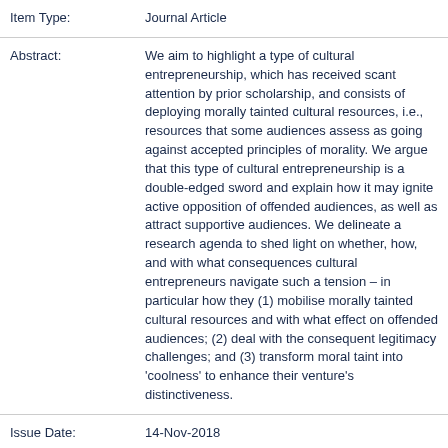| Item Type: | Journal Article |
| Abstract: | We aim to highlight a type of cultural entrepreneurship, which has received scant attention by prior scholarship, and consists of deploying morally tainted cultural resources, i.e., resources that some audiences assess as going against accepted principles of morality. We argue that this type of cultural entrepreneurship is a double-edged sword and explain how it may ignite active opposition of offended audiences, as well as attract supportive audiences. We delineate a research agenda to shed light on whether, how, and with what consequences cultural entrepreneurs navigate such a tension – in particular how they (1) mobilise morally tainted cultural resources and with what effect on offended audiences; (2) deal with the consequent legitimacy challenges; and (3) transform moral taint into 'coolness' to enhance their venture's distinctiveness. |
| Issue Date: | 14-Nov-2018 |
| Date of Acceptance: | 16-May-2018 |
| URI: | http://hdl.handle.net/10044/1/60202 |
| DOI: | https://doi.org/10.1080/14479338.2018.1470189 |